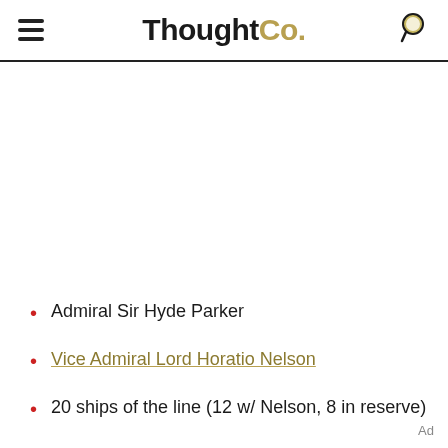ThoughtCo.
Admiral Sir Hyde Parker
Vice Admiral Lord Horatio Nelson
20 ships of the line (12 w/ Nelson, 8 in reserve)
Ad